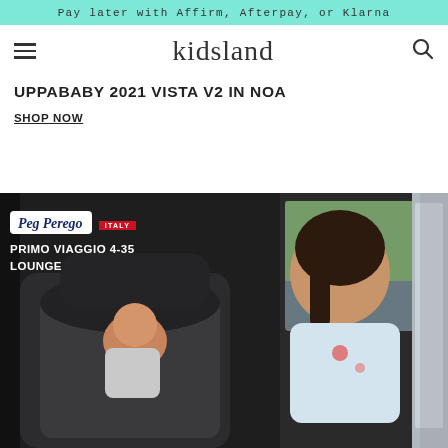Pay later with Affirm, Afterpay, or Klarna
kidsland
UPPABABY 2021 VISTA V2 IN NOA
SHOP NOW
[Figure (photo): Advertisement image showing PegPerego Primo Viaggio 4-35 Lounge infant car seat installed in a vehicle, with a smiling dark-haired woman reaching toward a baby in the car seat. Badge overlay reads 'PegPerego ITALY PRIMO VIAGGIO 4-35 LOUNGE']